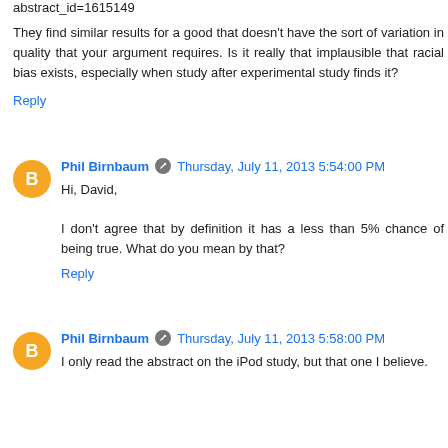abstract_id=1615149
They find similar results for a good that doesn't have the sort of variation in quality that your argument requires. Is it really that implausible that racial bias exists, especially when study after experimental study finds it?
Reply
Phil Birnbaum  Thursday, July 11, 2013 5:54:00 PM
Hi, David,
I don't agree that by definition it has a less than 5% chance of being true. What do you mean by that?
Reply
Phil Birnbaum  Thursday, July 11, 2013 5:58:00 PM
I only read the abstract on the iPod study, but that one I believe.